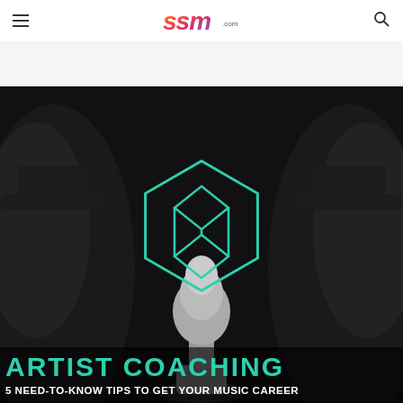ssm.com
[Figure (illustration): Dark moody photo of a chess pawn in center with dark background and two larger chess pieces (knights) silhouetted on either side. Overlaid with a teal/green hexagonal geometric logo mark in the center of the image.]
ARTIST COACHING
5 NEED-TO-KNOW TIPS TO GET YOUR MUSIC CAREER